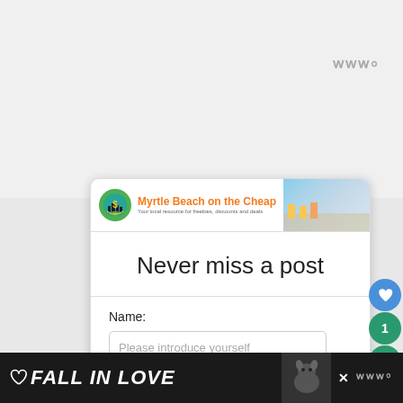[Figure (logo): Tidal watermark logo in gray at top right]
[Figure (logo): Myrtle Beach on the Cheap website header banner with circular dollar sign logo, orange text, and beach photo background]
Never miss a post
Name:
Please introduce yourself
Your email address:*
How can we reach you?
[Figure (infographic): Social sharing buttons: blue heart icon button and green share button with count of 1]
[Figure (infographic): Bottom advertisement bar with heart icon, FALL IN LOVE text in white italic, dog photo, close X button, and Tidal logo]